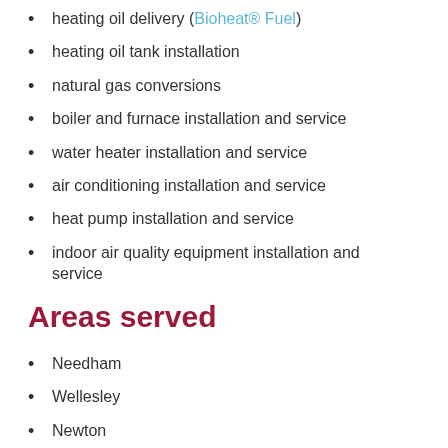heating oil delivery (Bioheat® Fuel)
heating oil tank installation
natural gas conversions
boiler and furnace installation and service
water heater installation and service
air conditioning installation and service
heat pump installation and service
indoor air quality equipment installation and service
Areas served
Needham
Wellesley
Newton
Dedham
Brookline